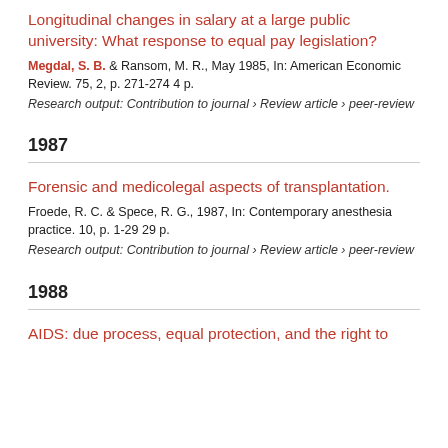Longitudinal changes in salary at a large public university: What response to equal pay legislation?
Megdal, S. B. & Ransom, M. R., May 1985, In: American Economic Review. 75, 2, p. 271-274 4 p.
Research output: Contribution to journal › Review article › peer-review
1987
Forensic and medicolegal aspects of transplantation.
Froede, R. C. & Spece, R. G., 1987, In: Contemporary anesthesia practice. 10, p. 1-29 29 p.
Research output: Contribution to journal › Review article › peer-review
1988
AIDS: due process, equal protection, and the right to